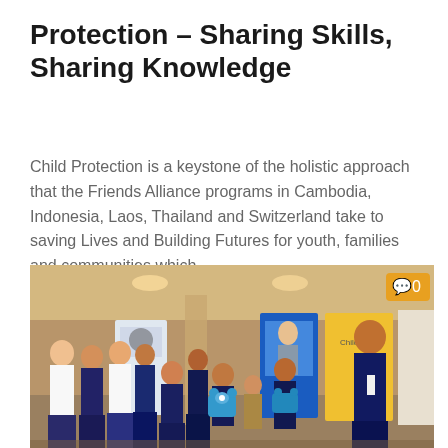Protection – Sharing Skills, Sharing Knowledge
Child Protection is a keystone of the holistic approach that the Friends Alliance programs in Cambodia, Indonesia, Laos, Thailand and Switzerland take to saving Lives and Building Futures for youth, families and communities which...
[Figure (photo): Group photo of approximately 12 people (mostly young women in dark blue uniforms) standing together in what appears to be a hotel or conference lobby. They are holding blue cartoon bear-shaped signs/props. Behind them are roll-up banners. A young man stands on the right side. In the upper right corner is a yellow comment badge showing '0'.]